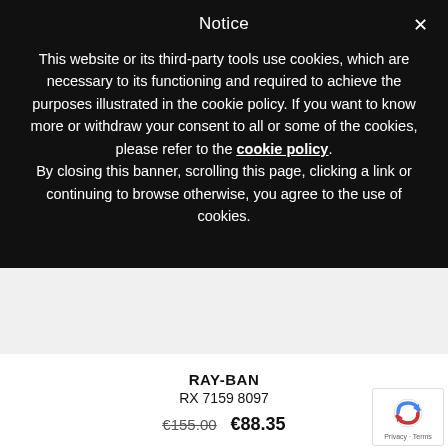Notice
This website or its third-party tools use cookies, which are necessary to its functioning and required to achieve the purposes illustrated in the cookie policy. If you want to know more or withdraw your consent to all or some of the cookies, please refer to the cookie policy. By closing this banner, scrolling this page, clicking a link or continuing to browse otherwise, you agree to the use of cookies.
[Figure (other): Light grey product image placeholder area]
RAY-BAN
RX 7159 8097
€155.00  €88.35
[Figure (other): Google reCAPTCHA badge with Privacy and Terms text]